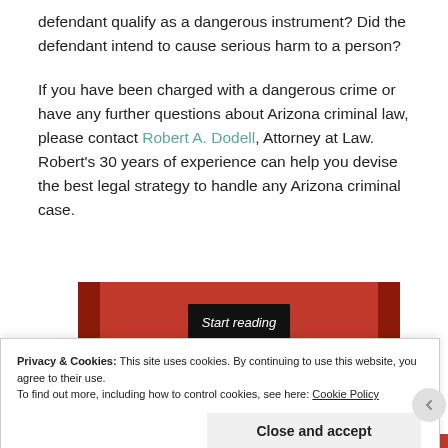defendant qualify as a dangerous instrument? Did the defendant intend to cause serious harm to a person?
If you have been charged with a dangerous crime or have any further questions about Arizona criminal law, please contact Robert A. Dodell, Attorney at Law. Robert’s 30 years of experience can help you devise the best legal strategy to handle any Arizona criminal case.
[Figure (other): Red banner with black 'Start reading' button in the center]
Privacy & Cookies: This site uses cookies. By continuing to use this website, you agree to their use.
To find out more, including how to control cookies, see here: Cookie Policy
Close and accept